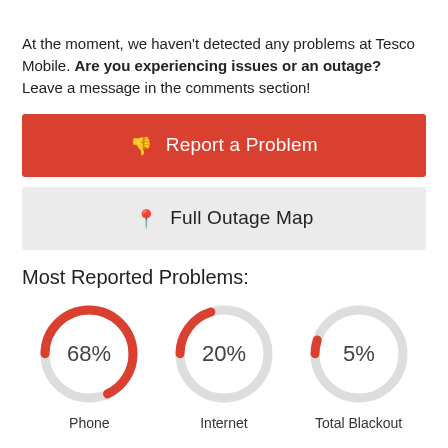At the moment, we haven't detected any problems at Tesco Mobile. Are you experiencing issues or an outage? Leave a message in the comments section!
[Figure (other): Red button: Report a Problem]
[Figure (other): Gray button: Full Outage Map]
Most Reported Problems:
[Figure (donut-chart): Most Reported Problems]